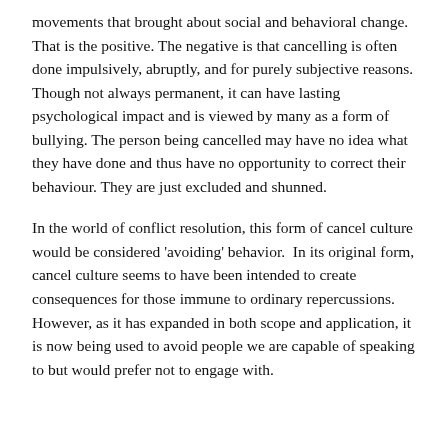movements that brought about social and behavioral change.  That is the positive. The negative is that cancelling is often done impulsively, abruptly, and for purely subjective reasons. Though not always permanent, it can have lasting psychological impact and is viewed by many as a form of bullying. The person being cancelled may have no idea what they have done and thus have no opportunity to correct their behaviour. They are just excluded and shunned.
In the world of conflict resolution, this form of cancel culture would be considered 'avoiding' behavior.  In its original form, cancel culture seems to have been intended to create consequences for those immune to ordinary repercussions. However, as it has expanded in both scope and application, it is now being used to avoid people we are capable of speaking to but would prefer not to engage with.